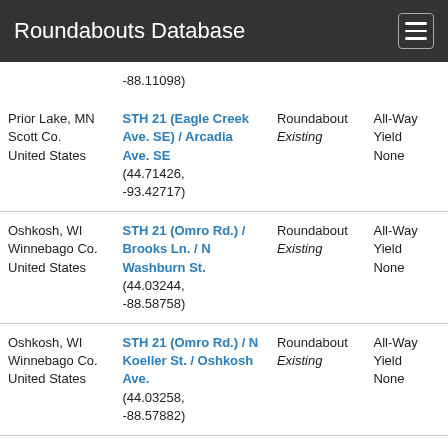Roundabouts Database
| Location | Intersection | Type | Control |
| --- | --- | --- | --- |
|  | -88.11098) |  |  |
| Prior Lake, MN Scott Co. United States | STH 21 (Eagle Creek Ave. SE) / Arcadia Ave. SE (44.71426, -93.42717) | Roundabout Existing | All-Way Yield None |
| Oshkosh, WI Winnebago Co. United States | STH 21 (Omro Rd.) / Brooks Ln. / N Washburn St. (44.03244, -88.58758) | Roundabout Existing | All-Way Yield None |
| Oshkosh, WI Winnebago Co. United States | STH 21 (Omro Rd.) / N Koeller St. / Oshkosh Ave. (44.03258, -88.57882) | Roundabout Existing | All-Way Yield None |
| Oshkosh, WI | STH 21 (Omro Rd. | Roundabout | All-Way |